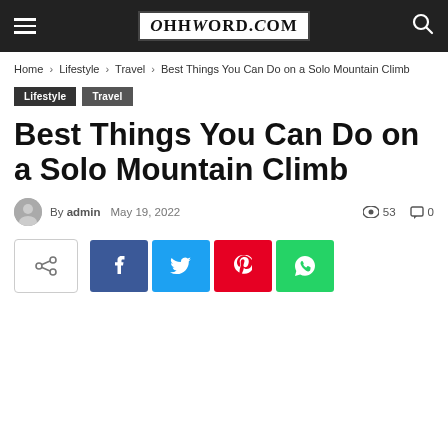OHHWORD.COM
Home › Lifestyle › Travel › Best Things You Can Do on a Solo Mountain Climb
Lifestyle  Travel
Best Things You Can Do on a Solo Mountain Climb
By admin  May 19, 2022  53 views  0 comments
[Figure (infographic): Social share buttons: share toggle, Facebook, Twitter, Pinterest, WhatsApp]